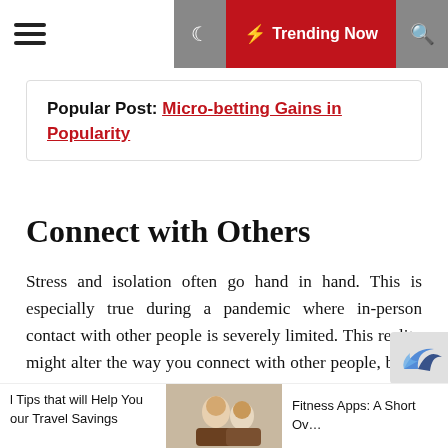☰  🌙  ⚡ Trending Now  🔍
Popular Post: Micro-betting Gains in Popularity
Connect with Others
Stress and isolation often go hand in hand. This is especially true during a pandemic where in-person contact with other people is severely limited. This reality might alter the way you connect with other people, but it should not eliminate those connections entirely. Technology has advanced to the point where there are countless avenues to connect with another person by video chat or over the phone. Maintaining both professional and personal relationships is a vital step toward avoiding stress and keeping up the frien
l Tips that will Help You our Travel Savings  |  [image]  |  Fitness Apps: A Short Ov